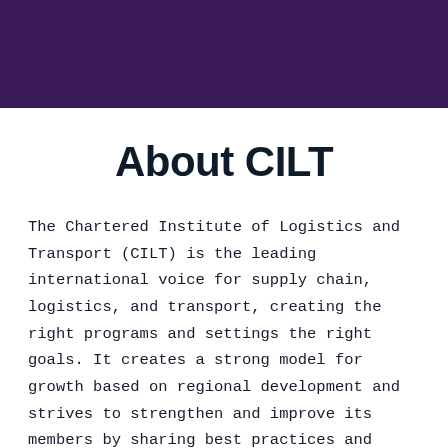[Figure (other): Dark purple rectangular banner header strip at the top of the page]
About CILT
The Chartered Institute of Logistics and Transport (CILT) is the leading international voice for supply chain, logistics, and transport, creating the right programs and settings the right goals. It creates a strong model for growth based on regional development and strives to strengthen and improve its members by sharing best practices and learnings, as well as encouraging participation and advancement at all levels.